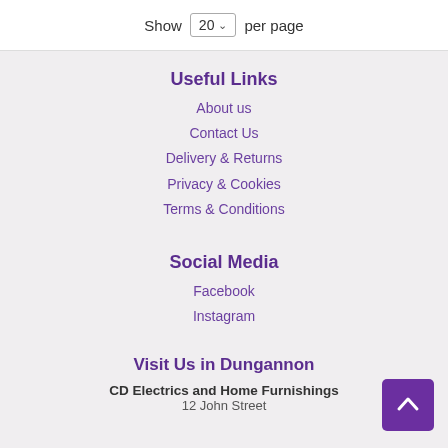Show 20 per page
Useful Links
About us
Contact Us
Delivery & Returns
Privacy & Cookies
Terms & Conditions
Social Media
Facebook
Instagram
Visit Us in Dungannon
CD Electrics and Home Furnishings
12 John Street